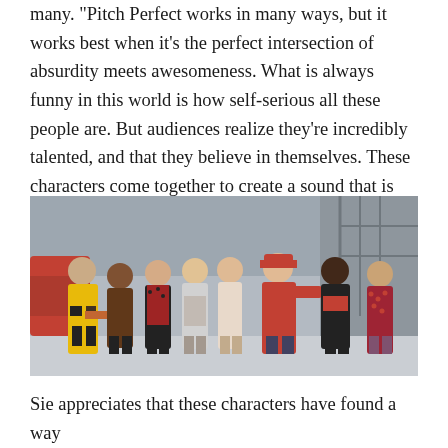many. "Pitch Perfect works in many ways, but it works best when it's the perfect intersection of absurdity meets awesomeness. What is always funny in this world is how self-serious all these people are. But audiences realize they're incredibly talented, and that they believe in themselves. These characters come together to create a sound that is impressive, and very satisfying, even if how they get there is often ridiculous, and absurd."
[Figure (photo): A group of young women from the Pitch Perfect movie, standing together in a large indoor space. One woman in a yellow jacket, others in colorful outfits including red coat and red hat, singing or performing.]
Sie appreciates that these characters have found a way